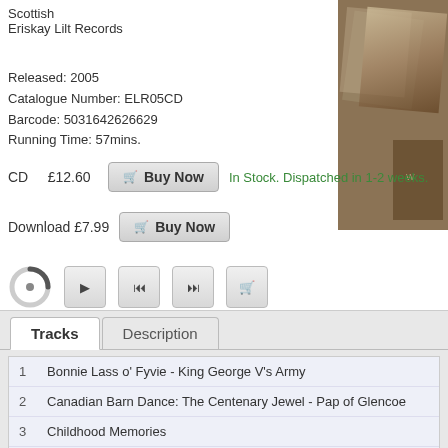Scottish
Eriskay Lilt Records
Released: 2005
Catalogue Number: ELR05CD
Barcode: 5031642626629
Running Time: 57mins.
CD  £12.60  Buy Now  In Stock. Dispatched in 1-2 weeks.
Download £7.99  Buy Now
[Figure (other): Audio player controls with spinner, play, previous, next, and cart buttons]
[Figure (photo): Album cover image partially visible on right side]
Tracks | Description
1  Bonnie Lass o' Fyvie - King George V's Army
2  Canadian Barn Dance: The Centenary Jewel - Pap of Glencoe
3  Childhood Memories
4  Strip the Willow: Farewell To the Tay - Snug In the Blanket - Paddy's Leather Brea - Archie Beag
5  Bad Moon Rising